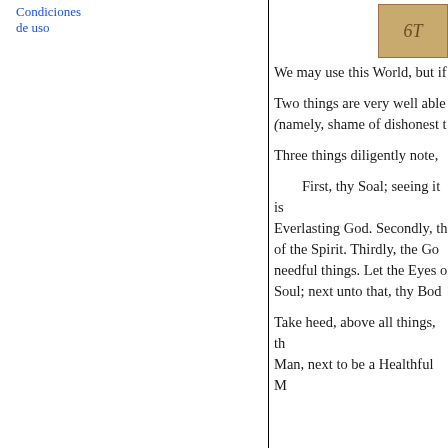Condiciones de uso
[Figure (photo): Aged stamp or seal image with text '6T' or similar marking in brownish tones]
We may use this World, but if
Two things are very well able (namely, shame of dishonest t
Three things diligently note,
First, thy Soal; seeing it is Everlasting God. Secondly, th of the Spirit. Thirdly, the Go needful things. Let the Eyes o Soul; next unto that, thy Bod
Take heed, above all things, th Man, next to be a Healthful M
thirdly to be a Good Man, wh for Health, and lastly for Wea
Beware, that for the variable